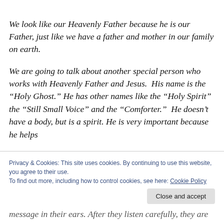We look like our Heavenly Father because he is our Father, just like we have a father and mother in our family on earth.
We are going to talk about another special person who works with Heavenly Father and Jesus.  His name is the “Holy Ghost.” He has other names like the “Holy Spirit” the “Still Small Voice” and the “Comforter.”  He doesn’t have a body, but is a spirit. He is very important because he helps
message in their ears. After they listen carefully, they are